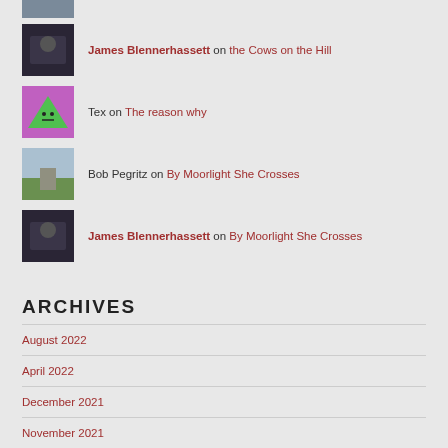James Blennerhassett on the Cows on the Hill
Tex on The reason why
Bob Pegritz on By Moorlight She Crosses
James Blennerhassett on By Moorlight She Crosses
ARCHIVES
August 2022
April 2022
December 2021
November 2021
October 2021